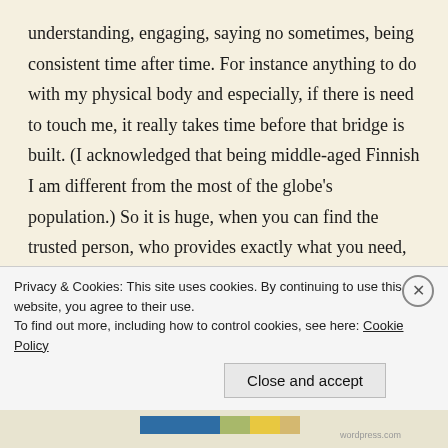understanding, engaging, saying no sometimes, being consistent time after time. For instance anything to do with my physical body and especially, if there is need to touch me, it really takes time before that bridge is built. (I acknowledged that being middle-aged Finnish I am different from the most of the globe's population.) So it is huge, when you can find the trusted person, who provides exactly what you need, what you want, and even has subtle way offer you more. I found an excellent masseuse years ago, happily also the physiotherapist who could read my muscles plus
Privacy & Cookies: This site uses cookies. By continuing to use this website, you agree to their use.
To find out more, including how to control cookies, see here: Cookie Policy
Close and accept